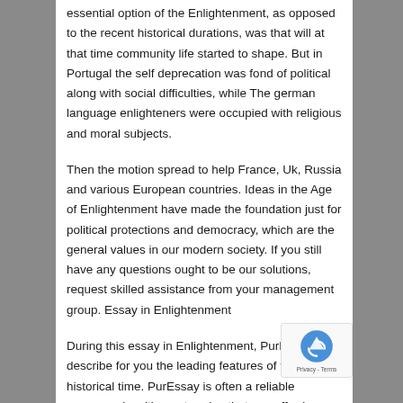essential option of the Enlightenment, as opposed to the recent historical durations, was that will at that time community life started to shape. But in Portugal the self deprecation was fond of political along with social difficulties, while The german language enlighteners were occupied with religious and moral subjects.
Then the motion spread to help France, Uk, Russia and various European countries. Ideas in the Age of Enlightenment have made the foundation just for political protections and democracy, which are the general values in our modern society. If you still have any questions ought to be our solutions, request skilled assistance from your management group. Essay in Enlightenment
During this essay in Enlightenment, PurEssay will describe for you the leading features of that historical time. PurEssay is often a reliable coursework writing enterprise that can afford any type of tutorial writing. Free changes are element of PurEssay in-house principles which help individuals deliver made to order academic works.